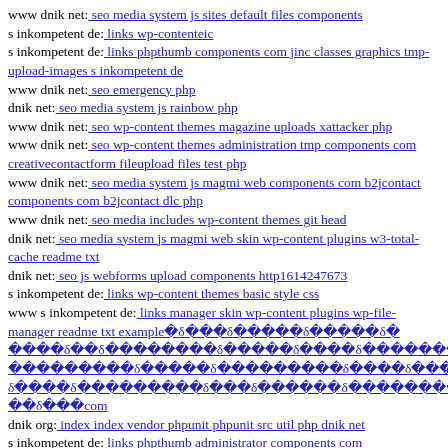www dnik net: seo media system js sites default files components
s inkompetent de: links wp-contenteic
s inkompetent de: links phpthumb components com jinc classes graphics tmp-upload-images s inkompetent de
www dnik net: seo emergency php
dnik net: seo media system js rainbow php
www dnik net: seo wp-content themes magazine uploads xattacker php
www dnik net: seo wp-content themes administration tmp components com creativecontactform fileupload files test php
www dnik net: seo media system js magmi web components com b2jcontact components com b2jcontact dlc php
www dnik net: seo media includes wp-content themes git head
dnik net: seo media system js magmi web skin wp-content plugins w3-total-cache readme txt
dnik net: seo js webforms upload components http1614247673
s inkompetent de: links wp-content themes basic style css
www s inkompetent de: links manager skin wp-content plugins wp-file-manager readme txt example                    com
dnik org: index index vendor phpunit phpunit src util php dnik net
s inkompetent de: links phpthumb administrator components com